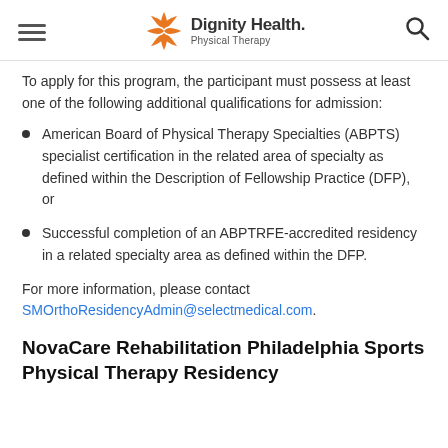Dignity Health Physical Therapy
To apply for this program, the participant must possess at least one of the following additional qualifications for admission:
American Board of Physical Therapy Specialties (ABPTS) specialist certification in the related area of specialty as defined within the Description of Fellowship Practice (DFP), or
Successful completion of an ABPTRFE-accredited residency in a related specialty area as defined within the DFP.
For more information, please contact SMOrthoResidencyAdmin@selectmedical.com.
NovaCare Rehabilitation Philadelphia Sports Physical Therapy Residency